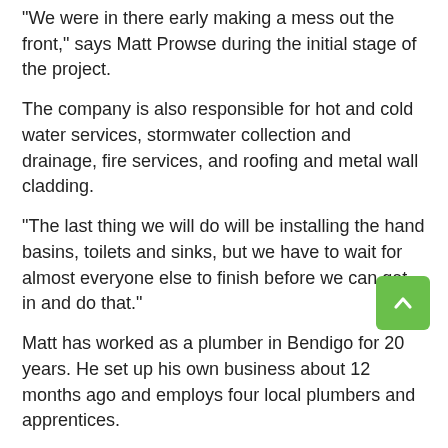“We were in there early making a mess out the front,” says Matt Prowse during the initial stage of the project.
The company is also responsible for hot and cold water services, stormwater collection and drainage, fire services, and roofing and metal wall cladding.
“The last thing we will do will be installing the hand basins, toilets and sinks, but we have to wait for almost everyone else to finish before we can get in and do that.”
Matt has worked as a plumber in Bendigo for 20 years. He set up his own business about 12 months ago and employs four local plumbers and apprentices.
Previous jobs include restoration work at the Bendigo Town Hall and upgrades and an amenities block at La Trobe University.
Kidzspace Bendigo will provide local families with a range of vital community health services aimed at improving the long-term outcomes for children throughout the city, and Matt said he was pleased to contribute to the project.